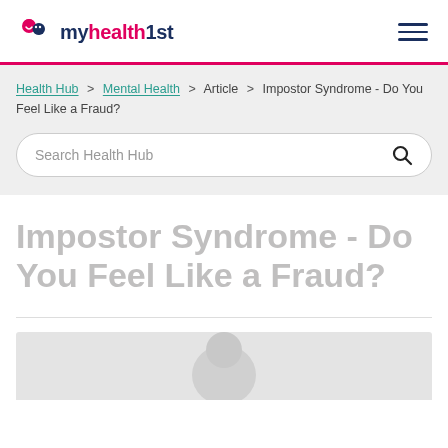myhealthfirst
Health Hub > Mental Health > Article > Impostor Syndrome - Do You Feel Like a Fraud?
Search Health Hub
Impostor Syndrome - Do You Feel Like a Fraud?
[Figure (photo): Partial view of a person, shown from the top of the image, with light gray background]